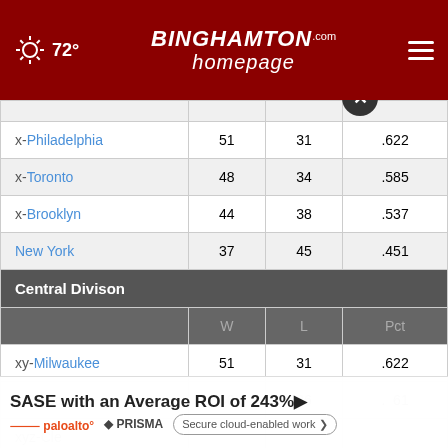72° | Binghamton Homepage | Navigation
| Team | W | L | Pct |
| --- | --- | --- | --- |
| x-Philadelphia | 51 | 31 | .622 |
| x-Toronto | 48 | 34 | .585 |
| x-Brooklyn | 44 | 38 | .537 |
| New York | 37 | 45 | .451 |
| Central Divison |  |  |  |
|  | W | L | Pct |
| xy-Milwaukee | 51 | 31 | .622 |
| x-Chicago | 46 | 36 | .561 |
| xyz-Cle… |  |  |  |
SASE with an Average ROI of 243%